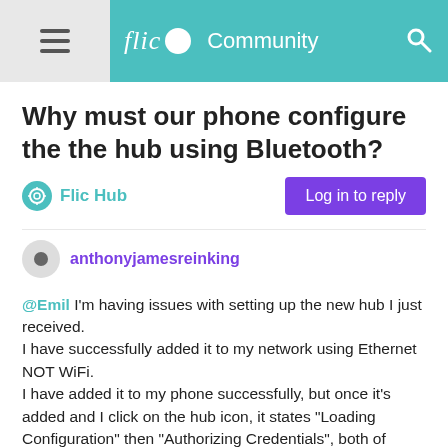flic Community
Why must our phone configure the the hub using Bluetooth?
Flic Hub  Log in to reply
anthonyjamesreinking
@Emil I'm having issues with setting up the new hub I just received.
I have successfully added it to my network using Ethernet NOT WiFi.
I have added it to my phone successfully, but once it's added and I click on the hub icon, it states "Loading Configuration" then "Authorizing Credentials", both of which are successful...then it just times out.

Now I'm suspicious that I need to be closer to the hub the change any settings...

Bluetooth is in no way shape of form superior, to me being able to wander my home, with my cell phone on WiFi and configure